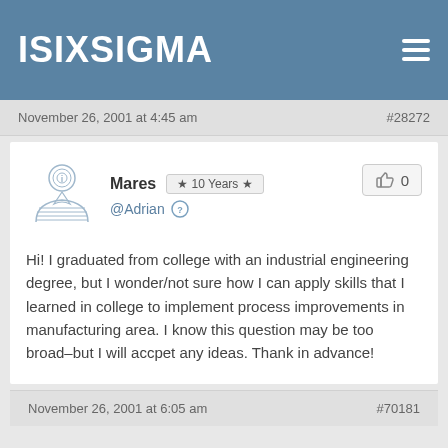ISIXSIGMA
November 26, 2001 at 4:45 am    #28272
Mares  ★ 10 Years ★  @Adrian  👤  0
Hi! I graduated from college with an industrial engineering degree, but I wonder/not sure how I can apply skills that I learned in college to implement process improvements in manufacturing area. I know this question may be too broad–but I will accpet any ideas. Thank in advance!
November 26, 2001 at 6:05 am    #70181